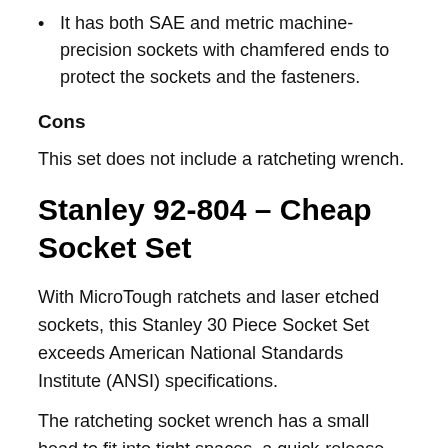It has both SAE and metric machine-precision sockets with chamfered ends to protect the sockets and the fasteners.
Cons
This set does not include a ratcheting wrench.
Stanley 92-804 – Cheap Socket Set
With MicroTough ratchets and laser etched sockets, this Stanley 30 Piece Socket Set exceeds American National Standards Institute (ANSI) specifications.
The ratcheting socket wrench has a small head to fit into tight spaces, a quick-release button, a thumb-operated reverse switch, and, for a more comfortable grip, it has a bi-material rubber handle. The ratcheting gear has 72 tooth for a smaller return in tight spaces